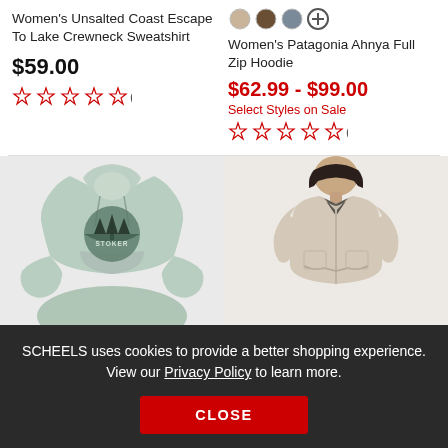[Figure (photo): Color swatches (tan, brown, gray) and a plus button for Women's Patagonia Ahnya Full Zip Hoodie]
Women's Unsalted Coast Escape To Lake Crewneck Sweatshirt
Women's Patagonia Ahnya Full Zip Hoodie
$59.00
$62.99 - $99.00
Select Styles on Sale
(0)
(0)
[Figure (photo): Light gray hoodie sweatshirt with circular graphic design featuring trees and 'Stoker' text, shown from front]
[Figure (photo): Beige/cream zip-up hoodie jacket worn by a woman with dark hair, shown from front]
SCHEELS uses cookies to provide a better shopping experience. View our Privacy Policy to learn more.
CLOSE